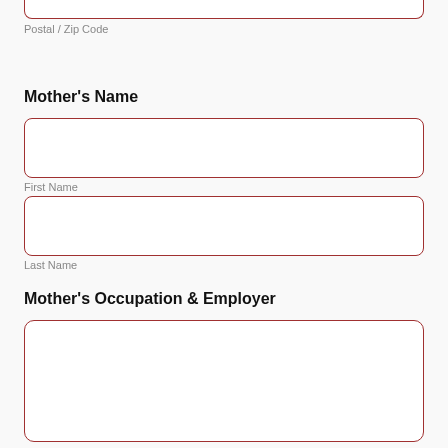Postal / Zip Code
Mother's Name
First Name
Last Name
Mother's Occupation & Employer